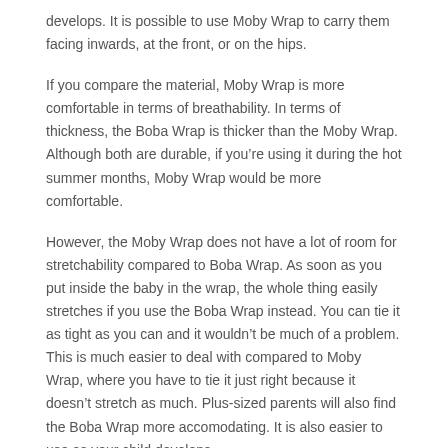develops. It is possible to use Moby Wrap to carry them facing inwards, at the front, or on the hips.
If you compare the material, Moby Wrap is more comfortable in terms of breathability. In terms of thickness, the Boba Wrap is thicker than the Moby Wrap. Although both are durable, if you're using it during the hot summer months, Moby Wrap would be more comfortable.
However, the Moby Wrap does not have a lot of room for stretchability compared to Boba Wrap. As soon as you put inside the baby in the wrap, the whole thing easily stretches if you use the Boba Wrap instead. You can tie it as tight as you can and it wouldn't be much of a problem. This is much easier to deal with compared to Moby Wrap, where you have to tie it just right because it doesn't stretch as much. Plus-sized parents will also find the Boba Wrap more accomodating. It is also easier to use as your child develops.